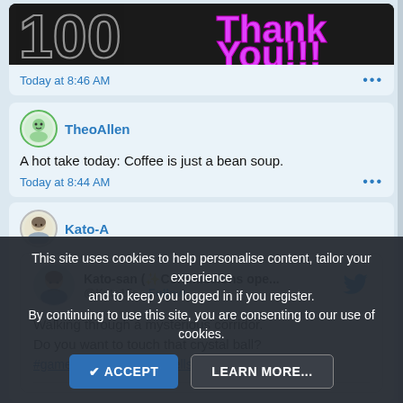[Figure (screenshot): Partial top post card showing a 'Thank You!!!' graphic with silver text and pink/magenta 'Thank You!!!' text on dark background, partially cropped]
Today at 8:46 AM
TheoAllen
A hot take today: Coffee is just a bean soup.
Today at 8:44 AM
Kato-A
Kato-san (✨Commissions ope... @Kato15s · Follow
Walking through a mysterious corridor.
Do you want to touch that crystal ball?
#gamedev #rpgmaker #hellsecret #pixelart
This site uses cookies to help personalise content, tailor your experience and to keep you logged in if you register.
By continuing to use this site, you are consenting to our use of cookies.